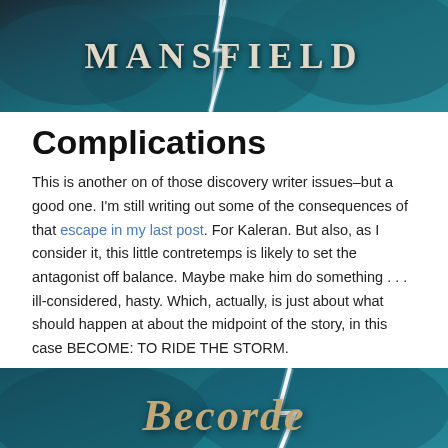[Figure (illustration): Book cover image with stormy teal/dark blue background, lightning bolt, and the text 'MANSFIELD' in large serif letters]
Complications
This is another on of those discovery writer issues–but a good one. I'm still writing out some of the consequences of that escape in my last post. For Kaleran. But also, as I consider it, this little contretemps is likely to set the antagonist off balance. Maybe make him do something . . . ill-considered, hasty. Which, actually, is just about what should happen at about the midpoint of the story, in this case BECOME: TO RIDE THE STORM.
[Figure (illustration): Book cover image with stormy teal background, lightning bolt, and partial text 'Becorde' in decorative letters]